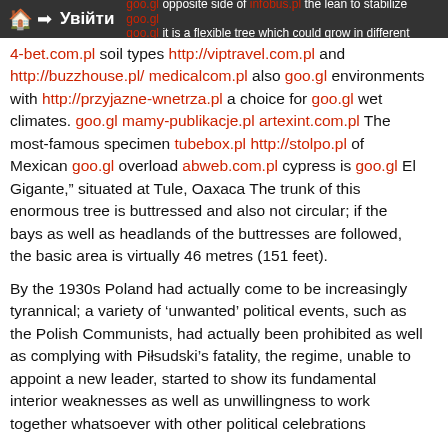goo.gl opposite side of infobus.pl the lean to stabilize goo.gl but goo.gl it is a flexible tree which could grow in different | Увійти
4-bet.com.pl soil types http://viptravel.com.pl and http://buzzhouse.pl/ medicalcom.pl also goo.gl environments with http://przyjazne-wnetrza.pl a choice for goo.gl wet climates. goo.gl mamy-publikacje.pl artexint.com.pl The most-famous specimen tubebox.pl http://stolpo.pl of Mexican goo.gl overload abweb.com.pl cypress is goo.gl El Gigante," situated at Tule, Oaxaca The trunk of this enormous tree is buttressed and also not circular; if the bays as well as headlands of the buttresses are followed, the basic area is virtually 46 metres (151 feet).
By the 1930s Poland had actually come to be increasingly tyrannical; a variety of 'unwanted' political events, such as the Polish Communists, had actually been prohibited as well as complying with Piłsudski's fatality, the regime, unable to appoint a new leader, started to show its fundamental interior weaknesses as well as unwillingness to work together whatsoever with other political celebrations